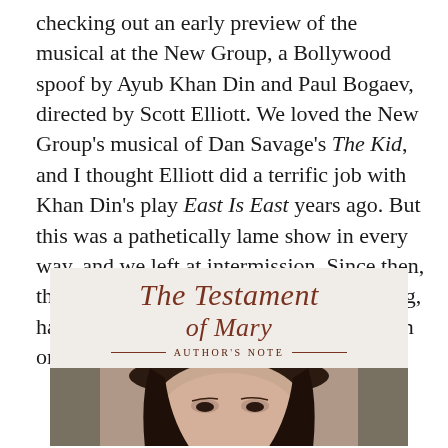checking out an early preview of the musical at the New Group, a Bollywood spoof by Ayub Khan Din and Paul Bogaev, directed by Scott Elliott. We loved the New Group's musical of Dan Savage's The Kid, and I thought Elliott did a terrific job with Khan Din's play East Is East years ago. But this was a pathetically lame show in every way, and we left at intermission. Since then, the lead actor, who was clearly floundering, has been replaced by the author, which can only be an improvement.
[Figure (photo): Book cover image for 'The Testament of Mary — Author's Note' with a photo of a woman's face below the title text]